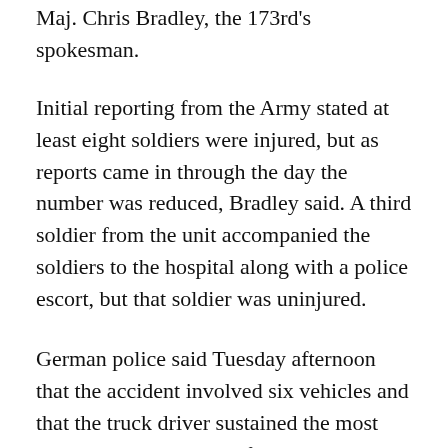Maj. Chris Bradley, the 173rd's spokesman.
Initial reporting from the Army stated at least eight soldiers were injured, but as reports came in through the day the number was reduced, Bradley said. A third soldier from the unit accompanied the soldiers to the hospital along with a police escort, but that soldier was uninjured.
German police said Tuesday afternoon that the accident involved six vehicles and that the truck driver sustained the most serious injuries. None of the soldiers' injuries were considered life-threatening at the scene, police said.
One of the vehicles in the military convoy, which